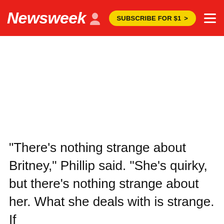Newsweek | SUBSCRIBE FOR $1 >
"There's nothing strange about Britney," Phillip said. "She's quirky, but there's nothing strange about her. What she deals with is strange. If